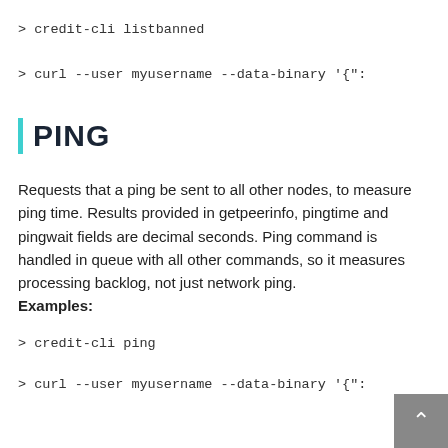> credit-cli listbanned
> curl --user myusername --data-binary '{"
PING
Requests that a ping be sent to all other nodes, to measure ping time. Results provided in getpeerinfo, pingtime and pingwait fields are decimal seconds. Ping command is handled in queue with all other commands, so it measures processing backlog, not just network ping. Examples:
> credit-cli ping
> curl --user myusername --data-binary '{"